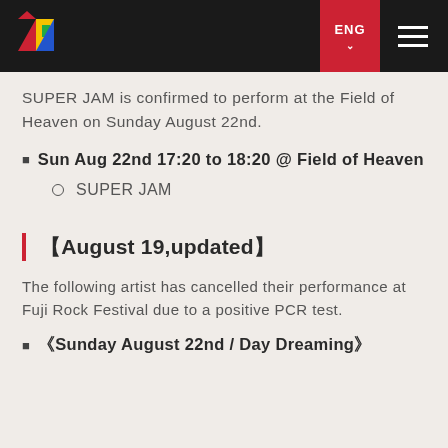ENG
SUPER JAM is confirmed to perform at the Field of Heaven on Sunday August 22nd.
Sun Aug 22nd 17:20 to 18:20 @ Field of Heaven
SUPER JAM
【August 19,updated】
The following artist has cancelled their performance at Fuji Rock Festival due to a positive PCR test.
《Sunday August 22nd / Day Dreaming》